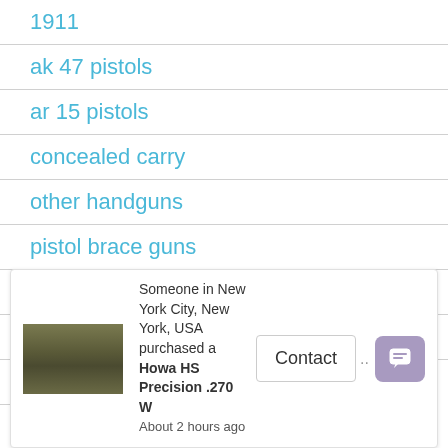1911
ak 47 pistols
ar 15 pistols
concealed carry
other handguns
pistol brace guns
revolvers
semi auto handguns
Home Defense Guns
Someone in New York City, New York, USA purchased a Howa HS Precision .270 W About 2 hours ago